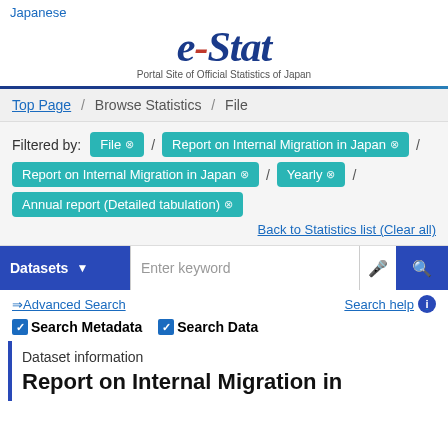Japanese
[Figure (logo): e-Stat logo with tagline 'Portal Site of Official Statistics of Japan']
Top Page / Browse Statistics / File
Filtered by: File ✕ / Report on Internal Migration in Japan ✕ / Report on Internal Migration in Japan ✕ / Yearly ✕ / Annual report (Detailed tabulation) ✕
Back to Statistics list (Clear all)
Datasets ∨  Enter keyword  🔍
⇒Advanced Search   Search help ℹ
✅Search Metadata  ✅Search Data
Dataset information
Report on Internal Migration in